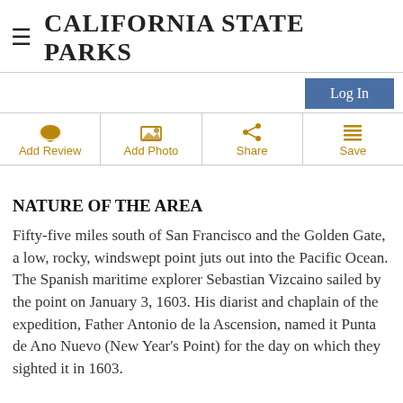CALIFORNIA STATE PARKS
Log In
Add Review | Add Photo | Share | Save
NATURE OF THE AREA
Fifty-five miles south of San Francisco and the Golden Gate, a low, rocky, windswept point juts out into the Pacific Ocean. The Spanish maritime explorer Sebastian Vizcaino sailed by the point on January 3, 1603. His diarist and chaplain of the expedition, Father Antonio de la Ascension, named it Punta de Ano Nuevo (New Year's Point) for the day on which they sighted it in 1603.
Today, the point remains much as Vizcaino saw it from his passing ship. Lonely, undeveloped, wild. Elephant